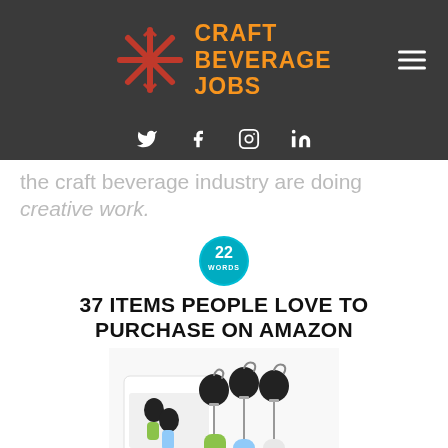CRAFT BEVERAGE JOBS
the craft beverage industry are doing creative work.
[Figure (logo): 22 Words circular badge logo in teal/cyan color with '22 WORDS' text]
37 ITEMS PEOPLE LOVE TO PURCHASE ON AMAZON
[Figure (photo): Product photo of retractable badge reels with silicone travel bottles in green, blue, and clear, with product box packaging]